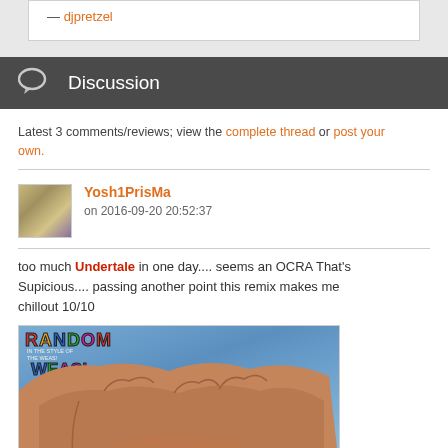— djpretzel
Discussion
Latest 3 comments/reviews; view the complete thread or post your own.
Yosh1PrisMa
on 2016-09-20 20:52:37
too much Undertale in one day.... seems an OCRA That's Supicious.... passing another point this remix makes me chillout 10/10
[Figure (illustration): Cartoon illustration showing a large fist with 'RANDOM WEAS!' text overlay in colorful letters on a blue background]